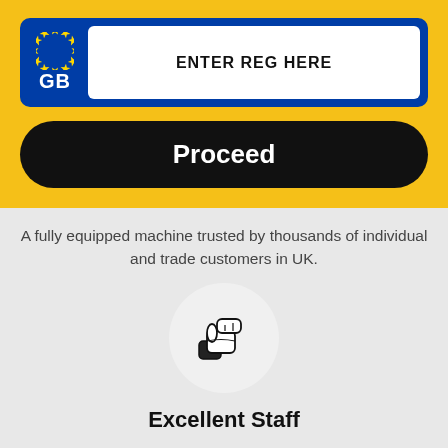[Figure (infographic): UK GB number plate input field with blue EU-style left panel showing stars and GB text, white area with ENTER REG HERE text]
[Figure (infographic): Black rounded rectangle button with white text Proceed]
A fully equipped machine trusted by thousands of individual and trade customers in UK.
[Figure (illustration): Thumbs up icon inside a light grey circle]
Excellent Staff
All of our staff members are fully trained and have years of experience in machining.